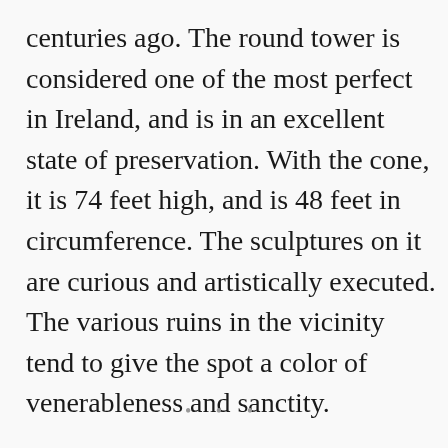centuries ago. The round tower is considered one of the most perfect in Ireland, and is in an excellent state of preservation. With the cone, it is 74 feet high, and is 48 feet in circumference. The sculptures on it are curious and artistically executed. The various ruins in the vicinity tend to give the spot a color of venerableness and sanctity.
• • •